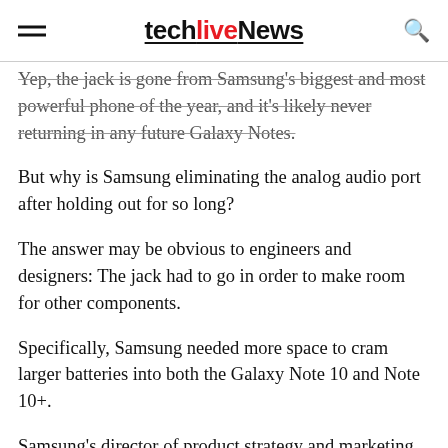techlivenews
Yep, the jack is gone from Samsung's biggest and most powerful phone of the year, and it's likely never returning in any future Galaxy Notes.
But why is Samsung eliminating the analog audio port after holding out for so long?
The answer may be obvious to engineers and designers: The jack had to go in order to make room for other components.
Specifically, Samsung needed more space to cram larger batteries into both the Galaxy Note 10 and Note 10+.
Samsung's director of product strategy and marketing Suzanne De Silva told me ahead of the Note 10s' Unpacked launch event that because the two Note 10s are so thin, they needed more space along the vertical y-axis to spread